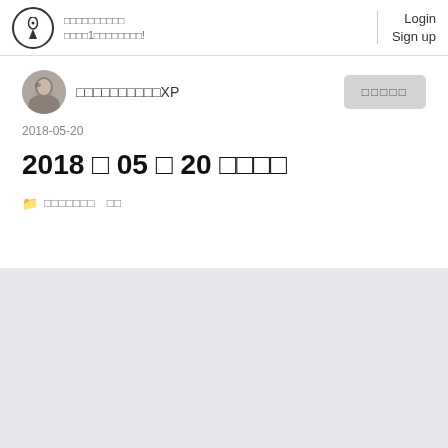Login  Sign up
□□□□□□□□□□XP
□□□□
2018-05-20
2018 □ 05 □ 20 □□□□
□□□□□□□  □□